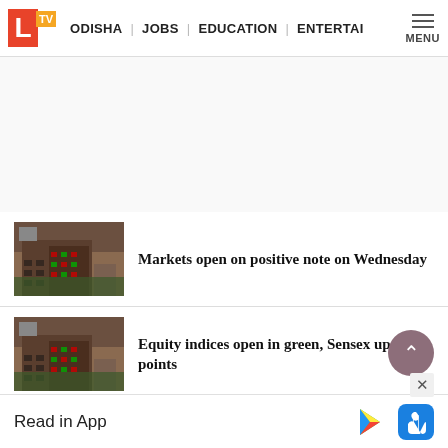LTV | ODISHA | JOBS | EDUCATION | ENTERTAI | MENU
[Figure (photo): Thumbnail of stock exchange building for article: Markets open on positive note on Wednesday]
Markets open on positive note on Wednesday
[Figure (photo): Thumbnail of stock exchange building for article: Equity indices open in green, Sensex up 100 points]
Equity indices open in green, Sensex up 100 points
[Figure (photo): Thumbnail of building for article: Stock Markets to remain closed for Mahavir]
Stock Markets to remain closed for Mahavir
Read in App